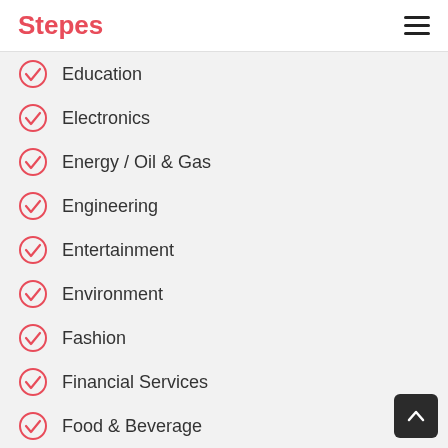Stepes
Education
Electronics
Energy / Oil & Gas
Engineering
Entertainment
Environment
Fashion
Financial Services
Food & Beverage
Games